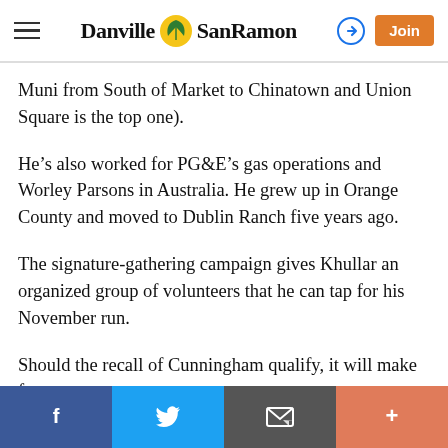Danville SanRamon — navigation header with hamburger menu, logo, login icon, and Join button
Muni from South of Market to Chinatown and Union Square is the top one).
He's also worked for PG&E's gas operations and Worley Parsons in Australia. He grew up in Orange County and moved to Dublin Ranch five years ago.
The signature-gathering campaign gives Khullar an organized group of volunteers that he can tap for his November run.
Should the recall of Cunningham qualify, it will make for
Social share bar: Facebook, Twitter, Email, More